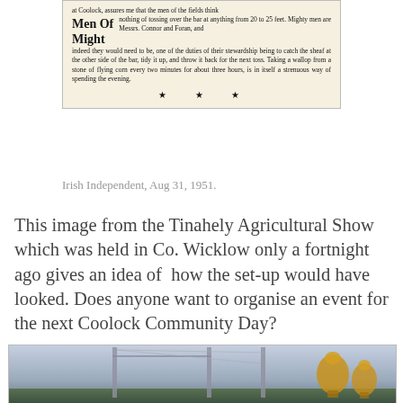[Figure (photo): Scanned newspaper clipping with bold heading 'Men Of Might' and text about men at Coolock tossing sheafs, from the Irish Independent.]
Irish Independent, Aug 31, 1951.
This image from the Tinahely Agricultural Show which was held in Co. Wicklow only a fortnight ago gives an idea of how the set-up would have looked. Does anyone want to organise an event for the next Coolock Community Day?
[Figure (photo): Photograph of tall goalposts or athletic tossing bar frames in an outdoor field with cloudy sky, and ornate trophies visible on the right side.]